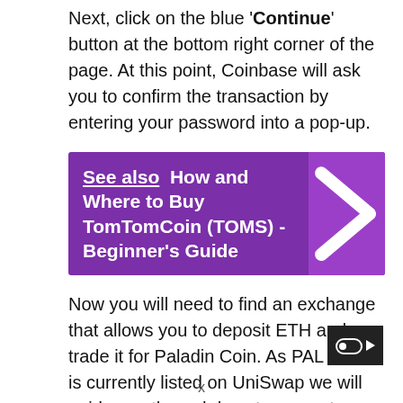Next, click on the blue 'Continue' button at the bottom right corner of the page. At this point, Coinbase will ask you to confirm the transaction by entering your password into a pop-up.
See also  How and Where to Buy TomTomCoin (TOMS) - Beginner's Guide
Now you will need to find an exchange that allows you to deposit ETH and trade it for Paladin Coin. As PAL Coin is currently listed on UniSwap we will guide you through how to convert your ETH on the platform.